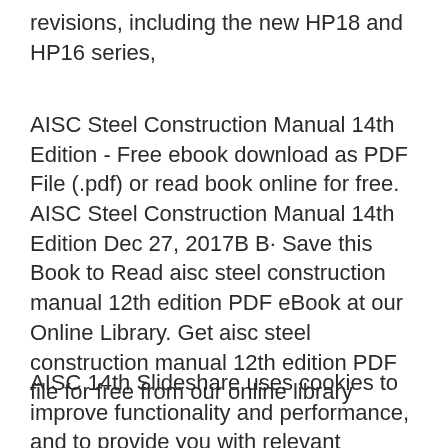revisions, including the new HP18 and HP16 series,
AISC Steel Construction Manual 14th Edition - Free ebook download as PDF File (.pdf) or read book online for free. AISC Steel Construction Manual 14th Edition Dec 27, 2017B B· Save this Book to Read aisc steel construction manual 12th edition PDF eBook at our Online Library. Get aisc steel construction manual 12th edition PDF file for free from our online library
AISC 14th Slideshare uses cookies to improve functionality and performance, and to provide you with relevant advertising. If you continue browsing